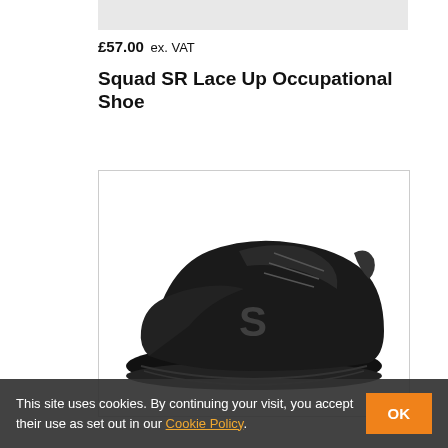[Figure (photo): Partial top portion of a product image placeholder (grey area)]
£57.00 ex. VAT
Squad SR Lace Up Occupational Shoe
[Figure (photo): Black Skechers Squad SR Lace Up Occupational Shoe, shown from the side on a white background. The shoe is all black with the Skechers S logo on the side.]
This site uses cookies. By continuing your visit, you accept their use as set out in our Cookie Policy.